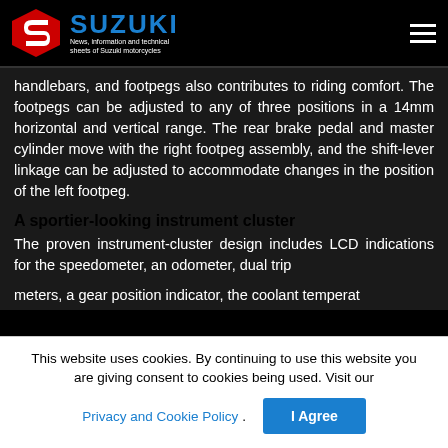SUZUKI — News, information and technical sheets of Suzuki motorcycles
handlebars, and footpegs also contributes to riding comfort. The footpegs can be adjusted to any of three positions in a 14mm horizontal and vertical range. The rear brake pedal and master cylinder move with the right footpeg assembly, and the shift-lever linkage can be adjusted to accommodate changes in the position of the left footpeg.
A sportier-looking instrument cluster
The proven instrument-cluster design includes LCD indications for the speedometer, an odometer, dual trip
This website uses cookies. By continuing to use this website you are giving consent to cookies being used. Visit our Privacy and Cookie Policy.